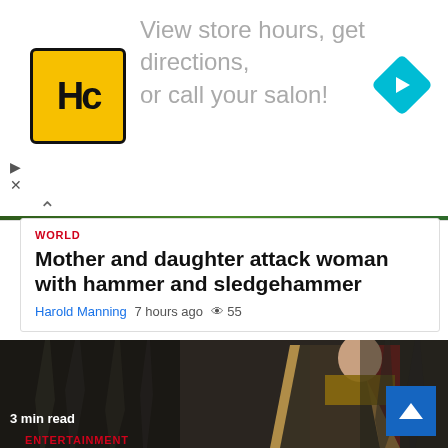[Figure (screenshot): Advertisement banner with HC hair salon logo (yellow square with HC letters) and text 'View store hours, get directions, or call your salon!' with a blue diamond navigation arrow icon on the right.]
WORLD
Mother and daughter attack woman with hammer and sledgehammer
Harold Manning   7 hours ago   55
[Figure (photo): A woman in medieval royal costume with a red dress and gold-embroidered black cape stands in front of dark iron throne-like background. Caption reads '3 min read'.]
ENTERTAINMENT